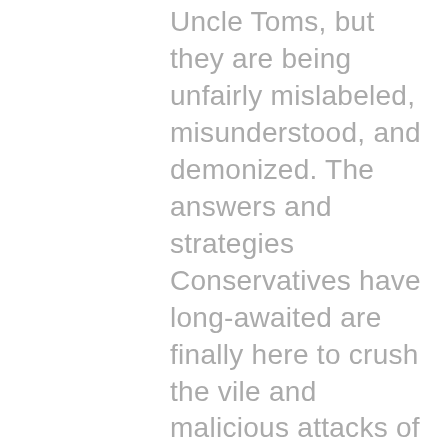Uncle Toms, but they are being unfairly mislabeled, misunderstood, and demonized. The answers and strategies Conservatives have long-awaited are finally here to crush the vile and malicious attacks of the Lefts' propaganda machine. Frederick Douglass Republican Training Program is the offensive strategy of the Liberty movement.